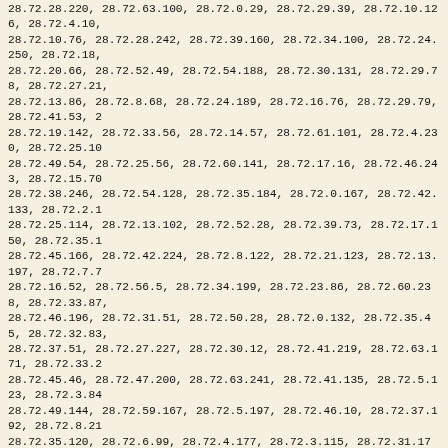28.72.28.220, 28.72.63.100, 28.72.0.29, 28.72.29.39, 28.72.10.126, 28.72.4.10, 28.72.10.76, 28.72.28.242, 28.72.39.160, 28.72.34.100, 28.72.24.250, 28.72.18, 28.72.20.66, 28.72.52.49, 28.72.54.188, 28.72.30.131, 28.72.29.78, 28.72.27.21, 28.72.13.86, 28.72.8.68, 28.72.24.189, 28.72.16.76, 28.72.29.79, 28.72.41.53, 2, 28.72.19.142, 28.72.33.56, 28.72.14.57, 28.72.61.101, 28.72.4.230, 28.72.25.10, 28.72.49.54, 28.72.25.56, 28.72.60.141, 28.72.17.16, 28.72.46.243, 28.72.15.70, 28.72.38.246, 28.72.54.128, 28.72.35.184, 28.72.0.167, 28.72.42.133, 28.72.2.1, 28.72.25.114, 28.72.13.102, 28.72.52.28, 28.72.39.73, 28.72.17.150, 28.72.35.1, 28.72.45.166, 28.72.42.224, 28.72.8.122, 28.72.21.123, 28.72.13.197, 28.72.7.7, 28.72.16.52, 28.72.56.5, 28.72.34.199, 28.72.23.86, 28.72.60.238, 28.72.33.87, 28.72.46.196, 28.72.31.51, 28.72.50.28, 28.72.0.132, 28.72.35.45, 28.72.32.83, 28.72.37.51, 28.72.27.227, 28.72.30.12, 28.72.41.219, 28.72.63.171, 28.72.33.2, 28.72.45.46, 28.72.47.200, 28.72.63.241, 28.72.41.135, 28.72.5.123, 28.72.3.84, 28.72.49.144, 28.72.59.167, 28.72.5.197, 28.72.46.10, 28.72.37.192, 28.72.8.21, 28.72.35.120, 28.72.6.99, 28.72.4.177, 28.72.3.115, 28.72.31.176, 28.72.49.197, 28.72.36.48, 28.72.5.67, 28.72.47.159, 28.72.2.16, 28.72.62.203, 28.72.41.33, 2, 28.72.30.209, 28.72.1.104, 28.72.53.87, 28.72.29.146, 28.72.6.18, 28.72.26.14, 28.72.38.161, 28.72.31.250, 28.72.50.85, 28.72.37.65, 28.72.54.81, 28.72.7.14, 28.72.20.139, 28.72.22.33, 28.72.46.114, 28.72.40.197, 28.72.4.59, 28.72.17.20, 28.72.17.189, 28.72.37.94, 28.72.54.16, 28.72.23.72, 28.72.56.15, 28.72.13.135, 28.72.6.96, 28.72.0.52, 28.72.27.77, 28.72.47.126, 28.72.9.139, 28.72.9.88, 28.7, 28.72.9.117, 28.72.17.134, 28.72.22.152, 28.72.17.248, 28.72.57.221, 28.72.31, 28.72.46.154, 28.72.39.205, 28.72.35.182, 28.72.0.190, 28.72.21.179, 28.72.30, 28.72.28.217, 28.72.55.102, 28.72.56.134, 28.72.47.35, 28.72.39.142, 28.72.38, 28.72.8.15, 28.72.45.92, 28.72.34.63, 28.72.22.242, 28.72.55.79, 28.72.26.12, 2, 28.72.38.178, 28.72.51.139, 28.72.37.164, 28.72.36.148, 28.72.35.115, 28.72.52, 28.72.45.19, 28.72.24.125, 28.72.11.233, 28.72.60.28, 28.72.54.123, 28.72.39.1, 28.72.59.14, 28.72.33.68, 28.72.46.63, 28.72.37.6, 28.72.3.204, 28.72.34.157, 2, 28.72.15.122, 28.72.50.33, 28.72.22.97, 28.72.31.25, 28.72.34.250, 28.72.46.14, 28.72.21.138, 28.72.22.167, 28.72.47.110, 28.72.30.18, 28.72.5.228, 28.72.59.2, 28.72.46.144, 28.72.5.155, 28.72.1.11, 28.72.3.119, 28.72.54.182, 28.72.22.3, 2, 28.72.63.78, 28.72.34.77, 28.72.22.0, 28.72.58.25, 28.72.49.225, 28.72.52.87, 2, 28.72.57.45, 28.72.1.244, 28.72.16.40, 28.72.42.149, 28.72.22.146, 28.72.42